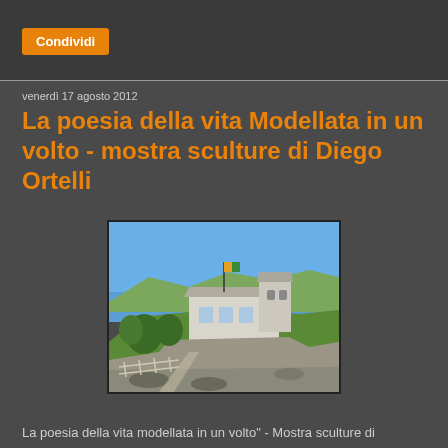Condividi
venerdì 17 agosto 2012
La poesia della vita Modellata in un volto - mostra sculture di Diego Ortelli
[Figure (photo): Mountain hilltop building/chapel with stone walls and flagpole under a clear blue sky, with green hillside and a path leading up to it]
La poesia della vita modellata in un volto" - Mostra sculture di